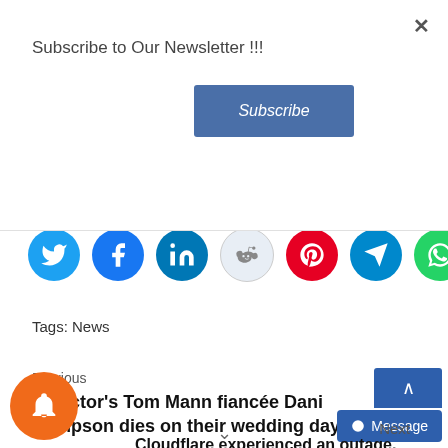Subscribe to Our Newsletter !!!
Subscribe
Please share this:
[Figure (infographic): Social media share icons: Twitter (cyan), Facebook (blue), LinkedIn (blue), Reddit (light grey/blue), Pinterest (red), Telegram (blue), WhatsApp (green)]
Tags: News
Previous
X Factor's Tom Mann fiancée Dani Hampson dies on their wedding day
Next
Cloudflare experienced an outage, which led to Shopify and Discord